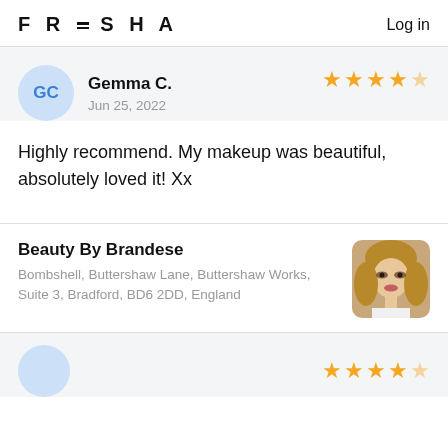FRESHA  Log in
Gemma C.
Jun 25, 2022
Highly recommend. My makeup was beautiful, absolutely loved it! Xx
Beauty By Brandese
Bombshell, Buttershaw Lane, Buttershaw Works, Suite 3, Bradford, BD6 2DD, England